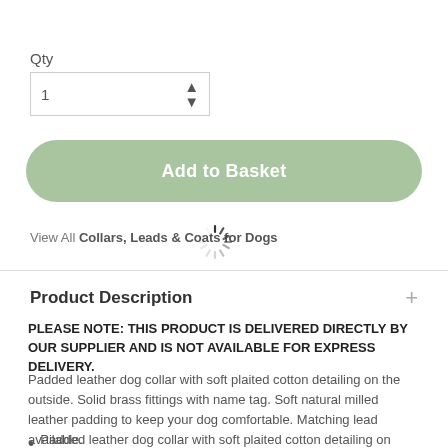Qty
[Figure (screenshot): Quantity input box showing value 1 with up/down arrows]
[Figure (screenshot): Add to Basket button, rounded, sage green color]
View All Collars, Leads & Coats for Dogs
[Figure (other): Loading spinner overlay]
Product Description
PLEASE NOTE: THIS PRODUCT IS DELIVERED DIRECTLY BY OUR SUPPLIER AND IS NOT AVAILABLE FOR EXPRESS DELIVERY.
Padded leather dog collar with soft plaited cotton detailing on the outside. Solid brass fittings with name tag. Soft natural milled leather padding to keep your dog comfortable. Matching lead available.
Padded leather dog collar with soft plaited cotton detailing on